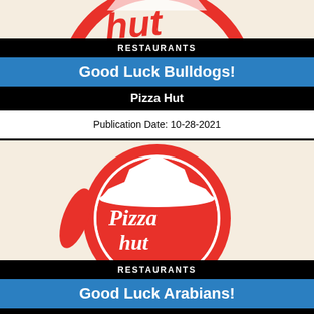[Figure (logo): Pizza Hut logo, top portion cropped, showing red script text on cream background]
RESTAURANTS
Good Luck Bulldogs!
Pizza Hut
Publication Date: 10-28-2021
[Figure (logo): Pizza Hut logo full circle in red with white hat silhouette and white script text 'Pizza Hut' on cream/beige background]
RESTAURANTS
Good Luck Arabians!
Pizza Hut